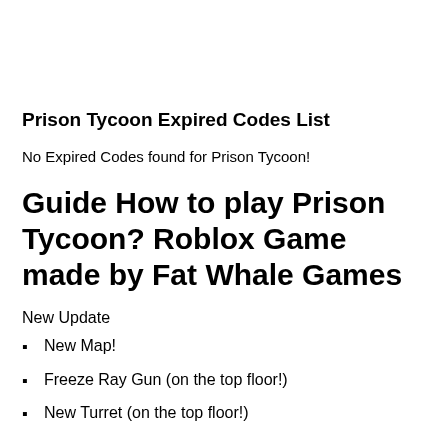Prison Tycoon Expired Codes List
No Expired Codes found for Prison Tycoon!
Guide How to play Prison Tycoon? Roblox Game made by Fat Whale Games
New Update
New Map!
Freeze Ray Gun (on the top floor!)
New Turret (on the top floor!)